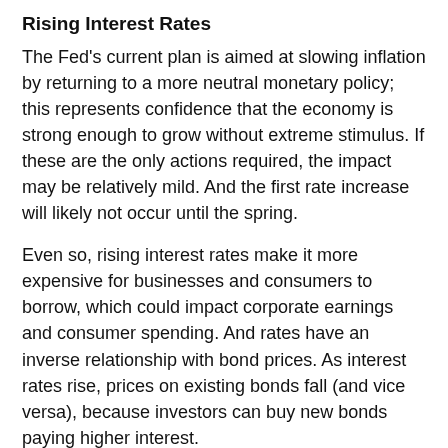Rising Interest Rates
The Fed's current plan is aimed at slowing inflation by returning to a more neutral monetary policy; this represents confidence that the economy is strong enough to grow without extreme stimulus. If these are the only actions required, the impact may be relatively mild. And the first rate increase will likely not occur until the spring.
Even so, rising interest rates make it more expensive for businesses and consumers to borrow, which could impact corporate earnings and consumer spending. And rates have an inverse relationship with bond prices. As interest rates rise, prices on existing bonds fall (and vice versa), because investors can buy new bonds paying higher interest.
On the other hand, higher rates on bonds, certificates of deposit (CDs), savings accounts, and other fixed-income vehicles could help investors, especially retirees, who rely on fixed-income investments. Brick-and-mortar banks typically react slowly to changes in the federal funds rate,